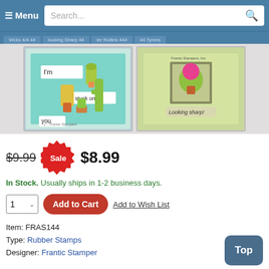≡ Menu  Search...
[Figure (photo): Two handmade cactus-themed greeting cards. Left card: teal background with cactus die cuts and text 'I'm stuck on you' from Frantic Stampers. Right card: green background with cactus in pot die cut and 'Looking sharp!' sentiment from Frantic Stampers, Inc.]
$9.99 Sale $8.99
In Stock. Usually ships in 1-2 business days.
1 ▾  Add to Cart  Add to Wish List
Item: FRAS144
Type: Rubber Stamps
Designer: Frantic Stamper